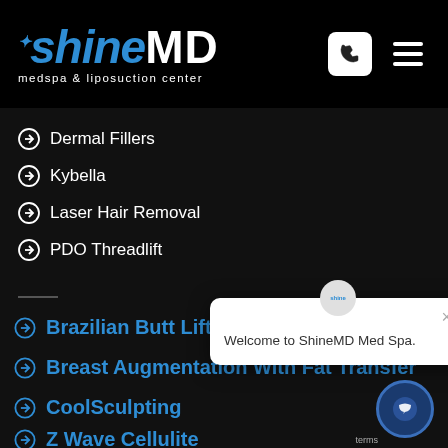[Figure (logo): ShineMD medspa & liposuction center logo with phone and hamburger menu icons on black header bar]
Dermal Fillers
Kybella
Laser Hair Removal
PDO Threadlift
Brazilian Butt Lift
Breast Augmentation With Fat Transfer
CoolSculpting
Z Wave Cellulite
Welcome to ShineMD Med Spa.